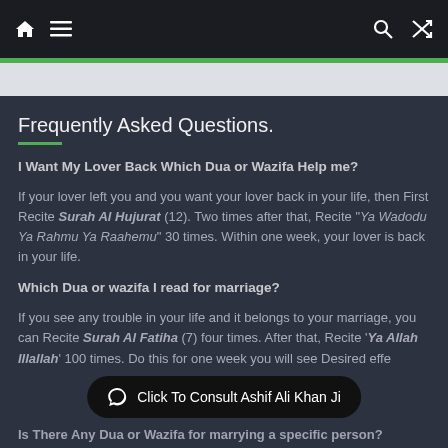Navigation bar with home, menu, search, and shuffle icons
Frequently Asked Questions.
I Want My Lover Back Which Dua or Wazifa Help me?
If your lover left you and you want your lover back in your life, then First Recite Surah Al Hujurat (12). Two times after that, Recite "Ya Wadodu Ya Rahmu Ya Raahemu" 30 times. Within one week, your lover is back in your life.
Which Dua or wazifa I read for marriage?
If you see any trouble in your life and it belongs to your marriage, you can Recite Surah Al Fatiha (7) four times. After that, Recite 'Ya Allah Illallah' 100 times. Do this for one week you will see Desired effe
Click To Consult Ashif Ali Khan Ji
Is There Any Dua or Wazifa for marrying a specific person?